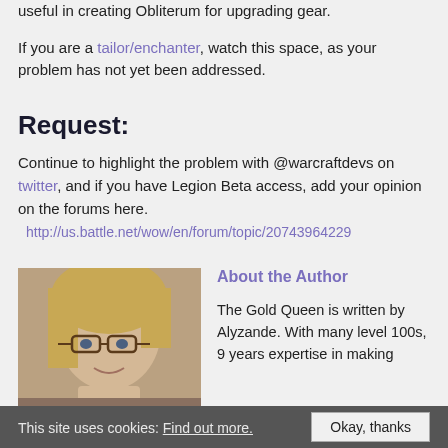useful in creating Obliterum for upgrading gear.
If you are a tailor/enchanter, watch this space, as your problem has not yet been addressed.
Request:
Continue to highlight the problem with @warcraftdevs on twitter, and if you have Legion Beta access, add your opinion on the forums here.
http://us.battle.net/wow/en/forum/topic/20743964229
About the Author
[Figure (photo): Author photo: woman with glasses and blonde hair]
The Gold Queen is written by Alyzande. With many level 100s, 9 years expertise in making...
This site uses cookies: Find out more.